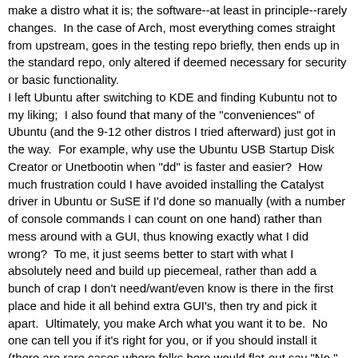make a distro what it is; the software--at least in principle--rarely changes.  In the case of Arch, most everything comes straight from upstream, goes in the testing repo briefly, then ends up in the standard repo, only altered if deemed necessary for security or basic functionality.
I left Ubuntu after switching to KDE and finding Kubuntu not to my liking;  I also found that many of the "conveniences" of Ubuntu (and the 9-12 other distros I tried afterward) just got in the way.  For example, why use the Ubuntu USB Startup Disk Creator or Unetbootin when "dd" is faster and easier?  How much frustration could I have avoided installing the Catalyst driver in Ubuntu or SuSE if I'd done so manually (with a number of console commands I can count on one hand) rather than mess around with a GUI, thus knowing exactly what I did wrong?  To me, it just seems better to start with what I absolutely need and build up piecemeal, rather than add a bunch of crap I don't need/want/even know is there in the first place and hide it all behind extra GUI's, then try and pick it apart.  Ultimately, you make Arch what you want it to be.  No one can tell you if it's right for you, or if you should install it (there are rare cases where folks here would flat-out say "No," but yours doesn't seem to be one of 'em 😉).  Check out those wiki articles I mentioned; if it seems like something that interests you, give it a whirl!
Linux != Windows  ::  Ask Questions the Smart Way  ::  Configs